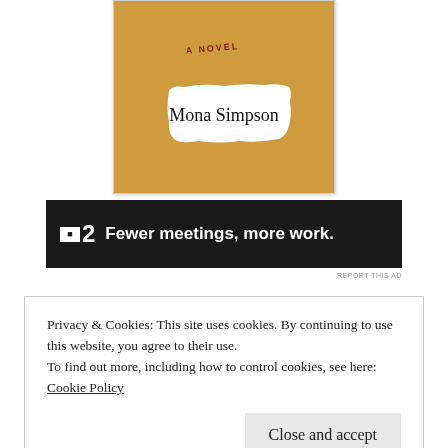[Figure (illustration): Book cover showing a golden/tan background with 'A NOVEL' stamp text in red, and a white torn-paper label with 'Mona Simpson' in large serif text]
[Figure (other): Advertisement banner: dark background with logo showing a white rectangle with icon and number 2, followed by text 'Fewer meetings, more work.']
REPORT THIS AD
Privacy & Cookies: This site uses cookies. By continuing to use this website, you agree to their use.
To find out more, including how to control cookies, see here:
Cookie Policy